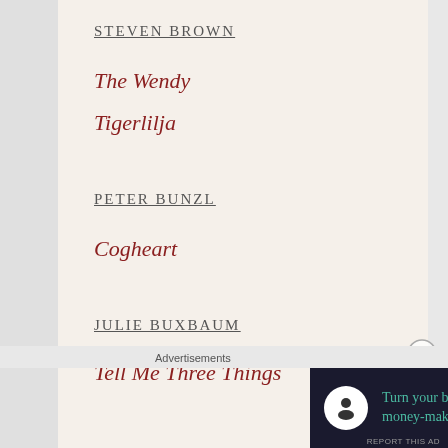STEVEN BROWN
The Wendy
Tigerlilja
PETER BUNZL
Cogheart
JULIE BUXBAUM
Tell Me Three Things
Advertisements
[Figure (other): Advertisement banner: Turn your blog into a money-making online course. with arrow button on dark background.]